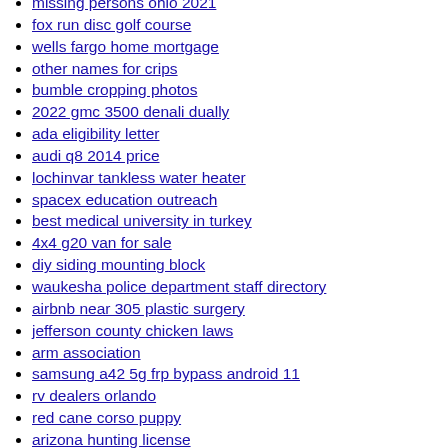missing persons ohio 2021
fox run disc golf course
wells fargo home mortgage
other names for crips
bumble cropping photos
2022 gmc 3500 denali dually
ada eligibility letter
audi q8 2014 price
lochinvar tankless water heater
spacex education outreach
best medical university in turkey
4x4 g20 van for sale
diy siding mounting block
waukesha police department staff directory
airbnb near 305 plastic surgery
jefferson county chicken laws
arm association
samsung a42 5g frp bypass android 11
rv dealers orlando
red cane corso puppy
arizona hunting license
sleep paralysis tickling
random genre generator jimmy fallon
first national apartments
aurora r11 ram slots
jacksonville florida safety concerns